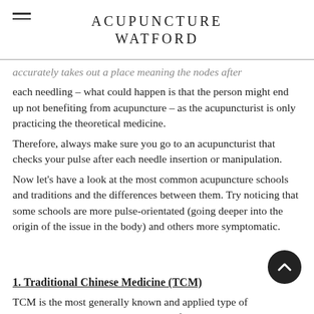ACUPUNCTURE WATFORD
accurately takes out a place meaning the nodes after each needling – what could happen is that the person might end up not benefiting from acupuncture – as the acupuncturist is only practicing the theoretical medicine.
Therefore, always make sure you go to an acupuncturist that checks your pulse after each needle insertion or manipulation.
Now let's have a look at the most common acupuncture schools and traditions and the differences between them. Try noticing that some schools are more pulse-orientated (going deeper into the origin of the issue in the body) and others more symptomatic.
1.  Traditional Chinese Medicine (TCM)
TCM is the most generally known and applied type of acupuncture out there. It was coined after Mao Zedong's cultural revolution where he ordered that the